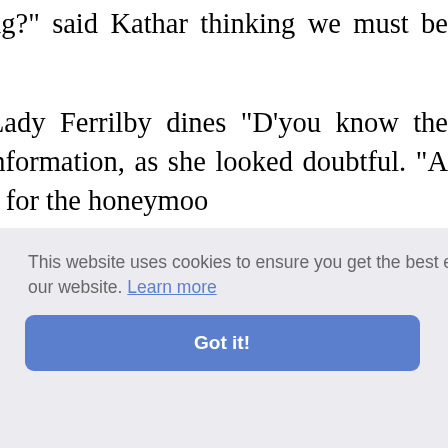"Leave you something?" said Kathar thinking we must be going—"

"Is it to-night that Lady Ferrilby dines "D'you know the Ferrilbys, Miss Dat information, as she looked doubtful. "A perhaps'll lend it to us for the honeymoo

"I agree that may be a reason. Otherwis added, as if to qualify her abruptness, "I

"Because you expect every one else to evening," he said, turning to Mary, as too? Sometimes when we're alone, I've ne glass— ity secon

apologiz

The rest of her excuse was cut short, so
This website uses cookies to ensure you get the best experience on our website. Learn more
Got it!